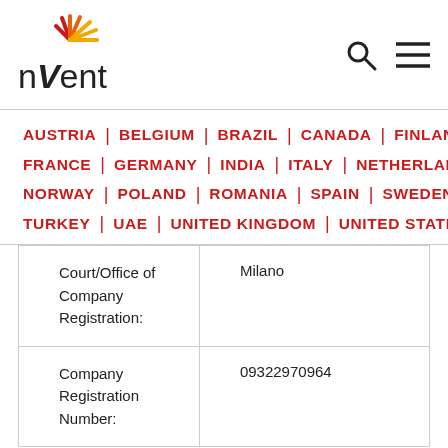[Figure (logo): nVent company logo with sunburst icon in red, orange and yellow above the text 'nVent', plus search and menu icons on the right]
AUSTRIA | BELGIUM | BRAZIL | CANADA | FINLAND | FRANCE | GERMANY | INDIA | ITALY | NETHERLANDS | NORWAY | POLAND | ROMANIA | SPAIN | SWEDEN | TURKEY | UAE | UNITED KINGDOM | UNITED STATES
| Court/Office of Company Registration: | Milano |
| Company Registration Number: | 09322970964 |